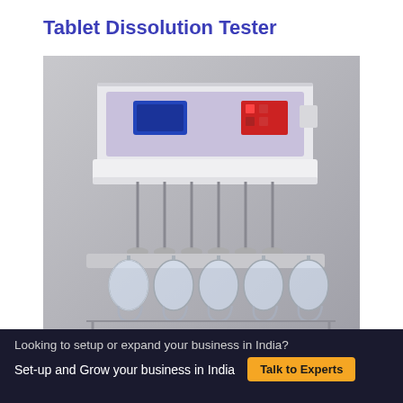Tablet Dissolution Tester
[Figure (photo): A tablet dissolution tester laboratory instrument with a white control unit on top featuring a blue LCD display and red control panel, connected to multiple glass vessels below with metal rod stirrers, on a grey background.]
Looking to setup or expand your business in India?
Set-up and Grow your business in India  Talk to Experts